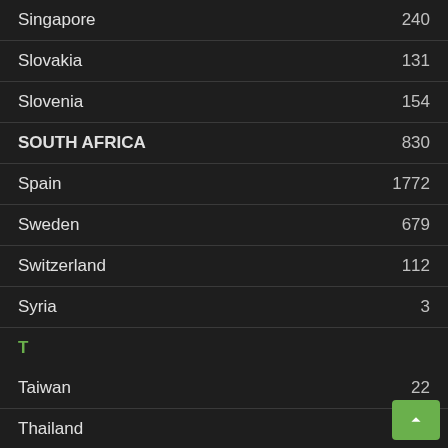| Country | Value |
| --- | --- |
| Singapore | 240 |
| Slovakia | 131 |
| Slovenia | 154 |
| SOUTH AFRICA | 830 |
| Spain | 1772 |
| Sweden | 679 |
| Switzerland | 112 |
| Syria | 3 |
T
| Country | Value |
| --- | --- |
| Taiwan | 22 |
| Thailand | 131 |
| The Netherlands | 12 |
| Turkey | 97 |
U
| Country | Value |
| --- | --- |
| Ukraine |  |